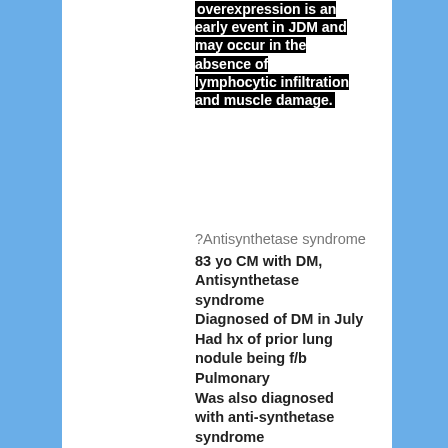overexpression is an early event in JDM and may occur in the absence of lymphocytic infiltration and muscle damage.
?Antisynthetase syndrome
83 yo CM with DM, Antisynthetase syndrome
Diagnosed of DM in July
Had hx of prior lung nodule being f/b Pulmonary
Was also diagnosed with anti-synthetase syndrome

Admitted from summer 2020 for evaluation of 4 month history of